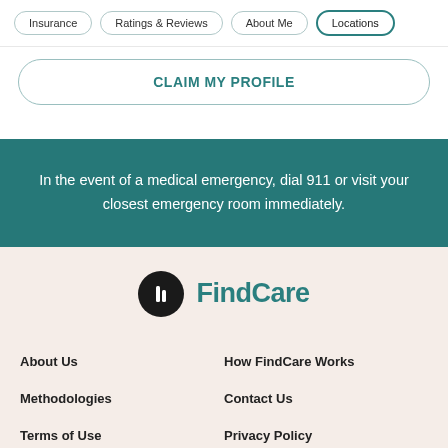Insurance | Ratings & Reviews | About Me | Locations
CLAIM MY PROFILE
In the event of a medical emergency, dial 911 or visit your closest emergency room immediately.
[Figure (logo): FindCare logo with black circle icon containing white 'h' letter and teal FindCare text]
About Us
How FindCare Works
Methodologies
Contact Us
Terms of Use
Privacy Policy